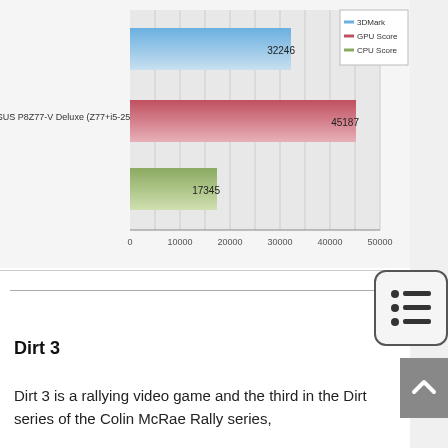[Figure (bar-chart): 3DMark benchmark - ASUS P8Z77-V Deluxe (Z77+i5-2500K)]
Dirt 3
Dirt 3 is a rallying video game and the third in the Dirt series of the Colin McRae Rally series,